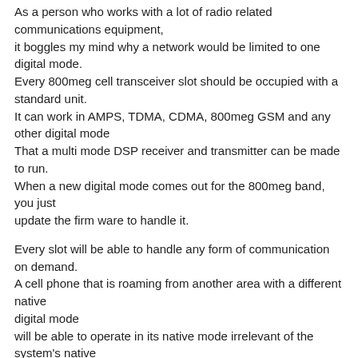As a person who works with a lot of radio related communications equipment, it boggles my mind why a network would be limited to one digital mode. Every 800meg cell transceiver slot should be occupied with a standard unit. It can work in AMPS, TDMA, CDMA, 800meg GSM and any other digital mode That a multi mode DSP receiver and transmitter can be made to run. When a new digital mode comes out for the 800meg band, you just update the firm ware to handle it.
Every slot will be able to handle any form of communication on demand. A cell phone that is roaming from another area with a different native digital mode will be able to operate in its native mode irrelevant of the system's native mode.